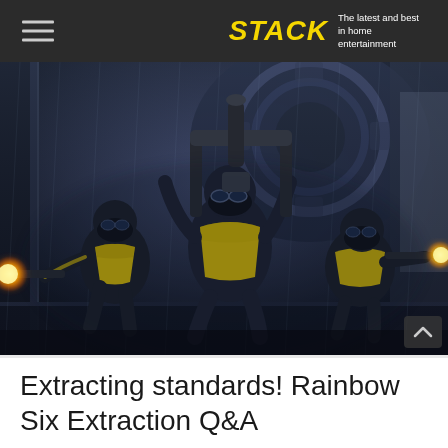STACK — The latest and best in home entertainment
[Figure (photo): Three armed soldiers in black and yellow tactical gear firing weapons in a dark industrial environment — Rainbow Six Extraction game screenshot]
Extracting standards! Rainbow Six Extraction Q&A